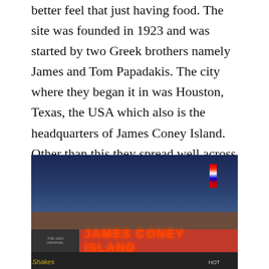better feel that just having food. The site was founded in 1923 and was started by two Greek brothers namely James and Tom Papadakis. The city where they began it in was Houston, Texas, the USA which also is the headquarters of James Coney Island. Other than this they spread well across 21 locations and are still expanding even in America as well.
[Figure (photo): Exterior night photo of a James Coney Island restaurant building. The building has a retro Art Deco style with neon red, white, and blue trim. A large illuminated sign reads 'JAMES CONEY ISLAND' in red letters against a dark orange-red background. A smaller sign in the lower left corner reads 'THE 1923 ORIGINAL'. There is a decorative stepped tower element on the right side of the building with a striped column on top. A circular logo emblem is visible on the facade. The sky is a dark blue twilight. The foreground shows partial text including 'Shakes' and 'HOT'.]